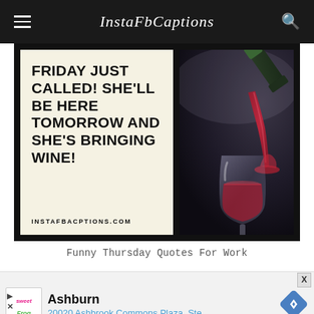InstaFbCaptions
[Figure (photo): Composite image: left half shows a cream-colored panel with bold black uppercase text 'FRIDAY JUST CALLED! SHE'LL BE HERE TOMORROW AND SHE'S BRINGING WINE!' and URL 'INSTAFBACPTIONS.COM'; right half shows a dark photo of red wine being poured from a bottle into a large wine glass.]
Funny Thursday Quotes For Work
[Figure (infographic): Advertisement banner: SweetFrog logo on left, 'Ashburn' in bold black, '20020 Ashbrook Commons Plaza, Ste .' in blue, navigation diamond icon on right. Controls: play triangle and X button on lower left. Close X button top right.]